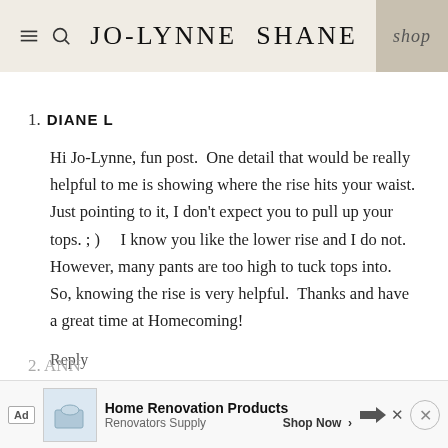JO-LYNNE SHANE
1. DIANE L

Hi Jo-Lynne, fun post.  One detail that would be really helpful to me is showing where the rise hits your waist.  Just pointing to it, I don't expect you to pull up your tops. ; )     I know you like the lower rise and I do not.  However, many pants are too high to tuck tops into.  So, knowing the rise is very helpful.  Thanks and have a great time at Homecoming!

Reply
2. ANN...
[Figure (screenshot): Advertisement banner: Home Renovation Products, Renovators Supply, Shop Now]